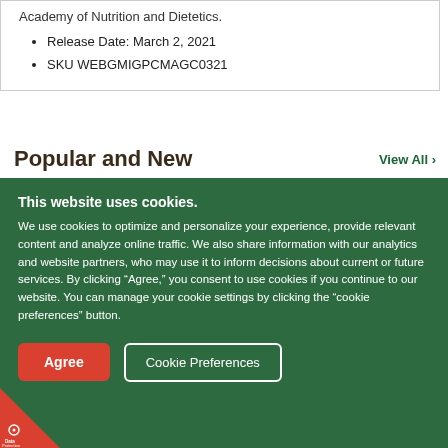Academy of Nutrition and Dietetics.
Release Date: March 2, 2021
SKU WEBGMIGPCMAGC0321
Popular and New
View All ›
This website uses cookies.
We use cookies to optimize and personalize your experience, provide relevant content and analyze online traffic. We also share information with our analytics and website partners, who may use it to inform decisions about current or future services. By clicking "Agree," you consent to use cookies if you continue to our website. You can manage your cookie settings by clicking the "cookie preferences" button.
Agree
Cookie Preferences